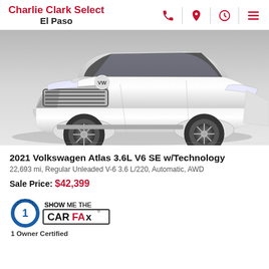Charlie Clark Select El Paso
[Figure (photo): Front view of a white 2021 Volkswagen Atlas SUV on a light gray background]
2021 Volkswagen Atlas 3.6L V6 SE w/Technology
22,693 mi, Regular Unleaded V-6 3.6 L/220, Automatic, AWD
Sale Price: $42,399
[Figure (logo): CARFAX 1 Show Me The Carfax badge logo]
1 Owner Certified